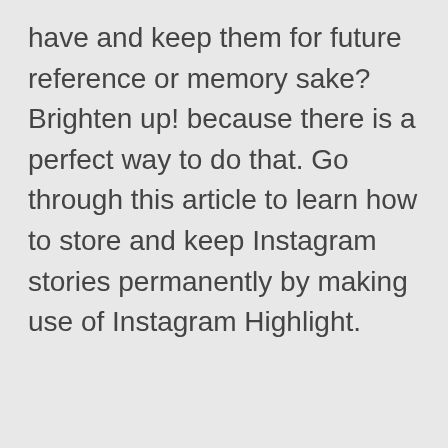have and keep them for future reference or memory sake? Brighten up! because there is a perfect way to do that. Go through this article to learn how to store and keep Instagram stories permanently by making use of Instagram Highlight.